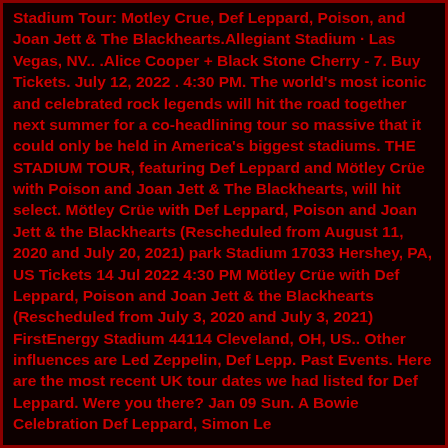Stadium Tour: Motley Crue, Def Leppard, Poison, and Joan Jett & The Blackhearts.Allegiant Stadium · Las Vegas, NV.. .Alice Cooper + Black Stone Cherry - 7. Buy Tickets. July 12, 2022 . 4:30 PM. The world's most iconic and celebrated rock legends will hit the road together next summer for a co-headlining tour so massive that it could only be held in America's biggest stadiums. THE STADIUM TOUR, featuring Def Leppard and Mötley Crüe with Poison and Joan Jett & The Blackhearts, will hit select. Mötley Crüe with Def Leppard, Poison and Joan Jett & the Blackhearts (Rescheduled from August 11, 2020 and July 20, 2021) park Stadium 17033 Hershey, PA, US Tickets 14 Jul 2022 4:30 PM Mötley Crüe with Def Leppard, Poison and Joan Jett & the Blackhearts (Rescheduled from July 3, 2020 and July 3, 2021) FirstEnergy Stadium 44114 Cleveland, OH, US.. Other influences are Led Zeppelin, Def Lepp. Past Events. Here are the most recent UK tour dates we had listed for Def Leppard. Were you there? Jan 09 Sun. A Bowie Celebration Def Leppard, Simon Le